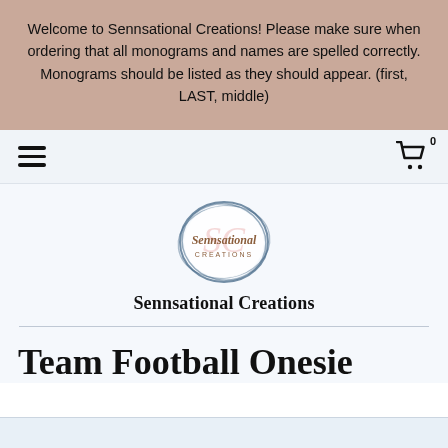Welcome to Sennsational Creations! Please make sure when ordering that all monograms and names are spelled correctly. Monograms should be listed as they should appear. (first, LAST, middle)
[Figure (logo): Sennsational Creations circular logo with stylized SC letters and cursive brand name inside blue ellipse swirls]
Sennsational Creations
Team Football Onesie